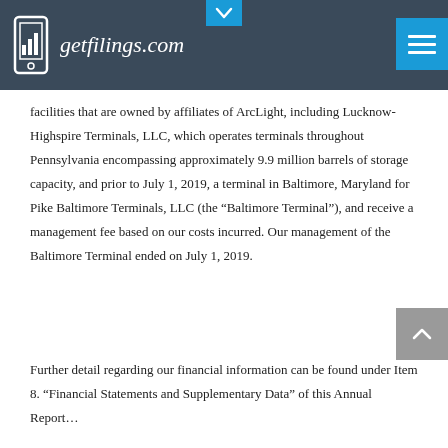getfilings.com
facilities that are owned by affiliates of ArcLight, including Lucknow-Highspire Terminals, LLC, which operates terminals throughout Pennsylvania encompassing approximately 9.9 million barrels of storage capacity, and prior to July 1, 2019, a terminal in Baltimore, Maryland for Pike Baltimore Terminals, LLC (the “Baltimore Terminal”), and receive a management fee based on our costs incurred. Our management of the Baltimore Terminal ended on July 1, 2019.
Further detail regarding our financial information can be found under Item 8. “Financial Statements and Supplementary Data” of this Annual Report…